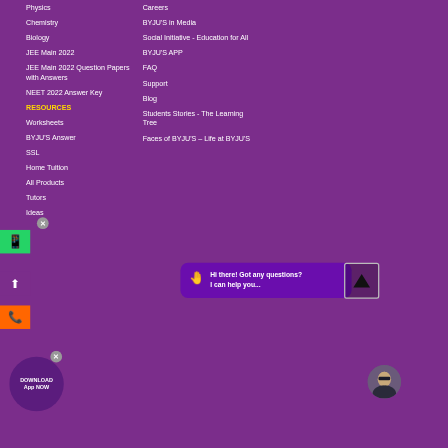Physics
Chemistry
Biology
JEE Main 2022
JEE Main 2022 Question Papers with Answers
NEET 2022 Answer Key
RESOURCES
Worksheets
BYJU'S Answer
SSL
Home Tuition
All Products
Tutors
Ideas
Careers
BYJU'S in Media
Social Initiative - Education for All
BYJU'S APP
FAQ
Support
Blog
Students Stories - The Learning Tree
Faces of BYJU'S – Life at BYJU'S
Hi there! Got any questions? I can help you...